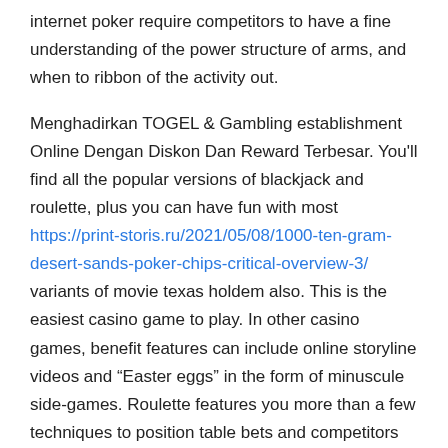internet poker require competitors to have a fine understanding of the power structure of arms, and when to ribbon of the activity out.
Menghadirkan TOGEL & Gambling establishment Online Dengan Diskon Dan Reward Terbesar. You'll find all the popular versions of blackjack and roulette, plus you can have fun with most https://print-storis.ru/2021/05/08/1000-ten-gram-desert-sands-poker-chips-critical-overview-3/ variants of movie texas holdem also. This is the easiest casino game to play. In other casino games, benefit features can include online storyline videos and “Easter eggs” in the form of minuscule side-games. Roulette features you more than a few techniques to position table bets and competitors have absolutely little have an effect on above where the baseball might territory after each angle.
They key advantage of a tournament is that the prize pool of all the players’ buy-in is usually shared between the top three winners. Virtually most slot machines are fitted with currency acceptors –